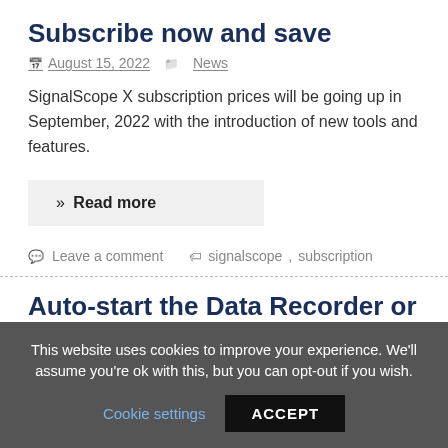Subscribe now and save
August 15, 2022   News
SignalScope X subscription prices will be going up in September, 2022 with the introduction of new tools and features.
» Read more
Leave a comment   signalscope, subscription
Auto-start the Data Recorder or the Octave Analyzer in SignalScope 11.5
This website uses cookies to improve your experience. We'll assume you're ok with this, but you can opt-out if you wish. Cookie settings  ACCEPT